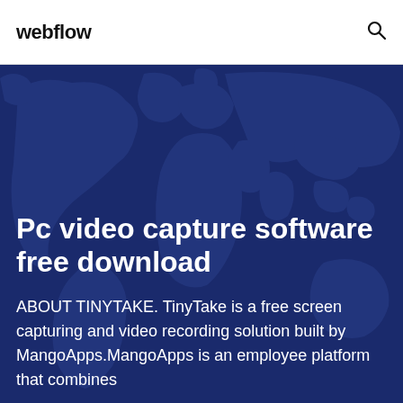webflow
[Figure (map): Dark blue world map silhouette used as hero background]
Pc video capture software free download
ABOUT TINYTAKE. TinyTake is a free screen capturing and video recording solution built by MangoApps.MangoApps is an employee platform that combines